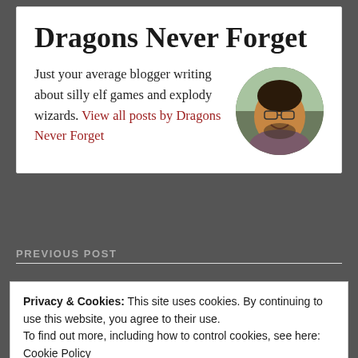Dragons Never Forget
Just your average blogger writing about silly elf games and explody wizards. View all posts by Dragons Never Forget
[Figure (photo): Circular avatar photo of a smiling man with glasses and a beard, outdoors with trees in background]
PREVIOUS POST
Privacy & Cookies: This site uses cookies. By continuing to use this website, you agree to their use.
To find out more, including how to control cookies, see here: Cookie Policy
Close and accept